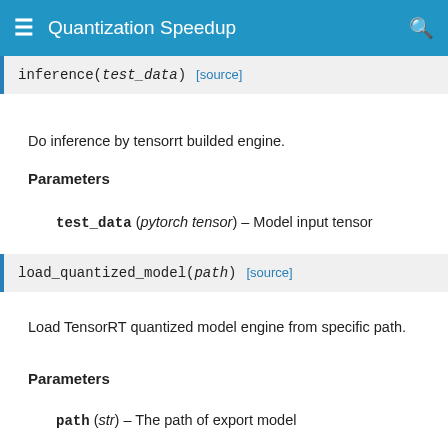Quantization Speedup
inference(test_data)   [source]
Do inference by tensorrt builded engine.
Parameters
test_data (pytorch tensor) – Model input tensor
load_quantized_model(path)   [source]
Load TensorRT quantized model engine from specific path.
Parameters
path (str) – The path of export model